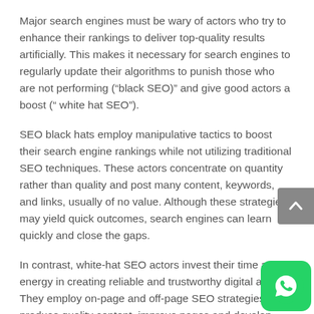Major search engines must be wary of actors who try to enhance their rankings to deliver top-quality results artificially. This makes it necessary for search engines to regularly update their algorithms to punish those who are not performing (“black SEO)” and give good actors a boost (“ white hat SEO”).
SEO black hats employ manipulative tactics to boost their search engine rankings while not utilizing traditional SEO techniques. These actors concentrate on quantity rather than quality and post many content, keywords, and links, usually of no value. Although these strategies may yield quick outcomes, search engines can learn quickly and close the gaps.
In contrast, white-hat SEO actors invest their time and energy in creating reliable and trustworthy digital assets. They employ on-page and off-page SEO strategies, produce quality content, improve pages and develop high-quality hyperlinks. If